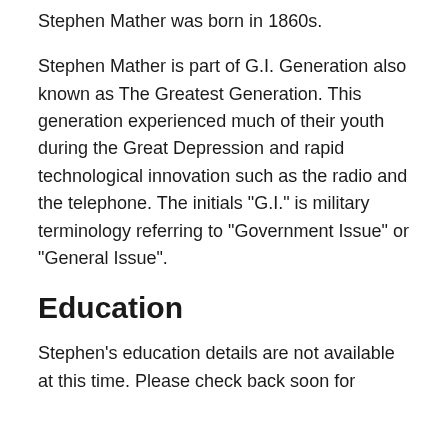Stephen Mather was born in 1860s.
Stephen Mather is part of G.I. Generation also known as The Greatest Generation. This generation experienced much of their youth during the Great Depression and rapid technological innovation such as the radio and the telephone. The initials "G.I." is military terminology referring to "Government Issue" or "General Issue".
Education
Stephen's education details are not available at this time. Please check back soon for